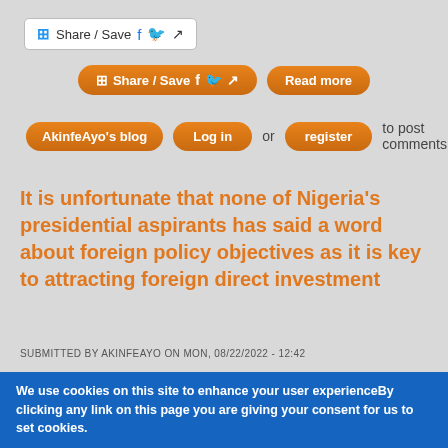[Figure (screenshot): Share/Save button with Facebook and Twitter icons, white background with border]
[Figure (screenshot): Orange Share/Save button with Facebook and Twitter icons, and a Read more orange button]
[Figure (screenshot): Orange buttons: AkinfeAyo's blog, Log in, register with text 'or' and 'to post comments']
It is unfortunate that none of Nigeria's presidential aspirants has said a word about foreign policy objectives as it is key to attracting foreign direct investment
SUBMITTED BY AKINFEAYO ON MON, 08/22/2022 - 12:42
[Figure (illustration): White box with orange top border showing 'Songhai' text in dark blue bold font and a partial map outline]
We use cookies on this site to enhance your user experienceBy clicking any link on this page you are giving your consent for us to set cookies.